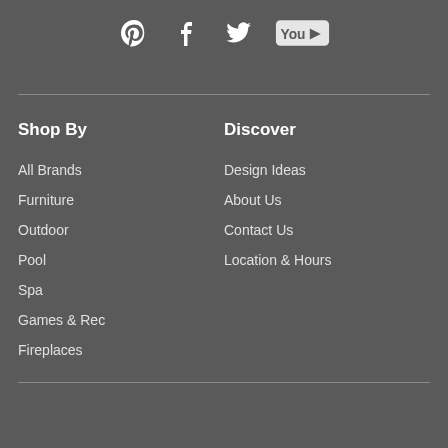[Figure (other): Social media icons: Pinterest, Facebook, Twitter, YouTube]
Shop By
All Brands
Furniture
Outdoor
Pool
Spa
Games & Rec
Fireplaces
Discover
Design Ideas
About Us
Contact Us
Location & Hours